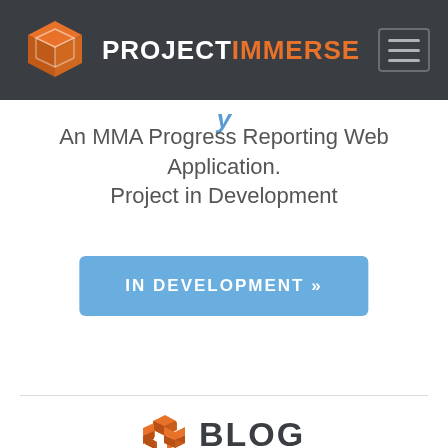PROJECT IMMERSE
An MMA Progress Reporting Web Application. Project in Development
IN DEVELOPMENT »
BLOG